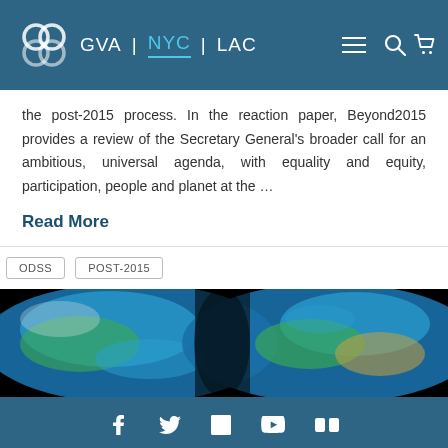GVA | NYC | LAC
the post-2015 process. In the reaction paper, Beyond2015 provides a review of the Secretary General's broader call for an ambitious, universal agenda, with equality and equity, participation, people and planet at the ...
Read More
ODSS
POST-2015
[Figure (photo): Two globe-shaped hands held together against a black background, showing world maps in blue and green tones]
Social media icons: Facebook, Twitter, LinkedIn, YouTube, Flickr